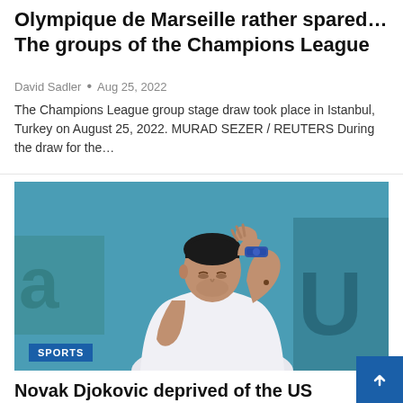Olympique de Marseille rather spared… The groups of the Champions League
David Sadler • Aug 25, 2022
The Champions League group stage draw took place in Istanbul, Turkey on August 25, 2022. MURAD SEZER / REUTERS During the draw for the…
[Figure (photo): Tennis player Novak Djokovic wiping his forehead with his wrist wearing a blue wristband and white shirt, with a teal/blue background. A blue badge reading SPORTS is overlaid at the bottom left.]
Novak Djokovic deprived of the US Open fo...